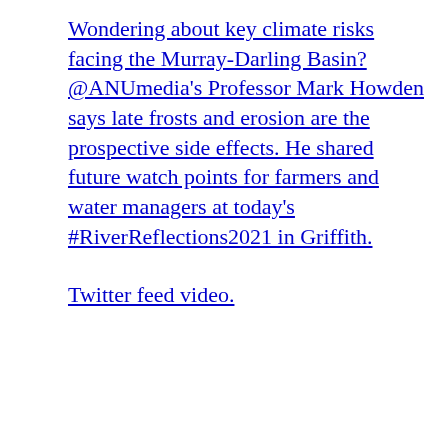Wondering about key climate risks facing the Murray-Darling Basin? @ANUmedia's Professor Mark Howden says late frosts and erosion are the prospective side effects. He shared future watch points for farmers and water managers at today's #RiverReflections2021 in Griffith.
Twitter feed video.